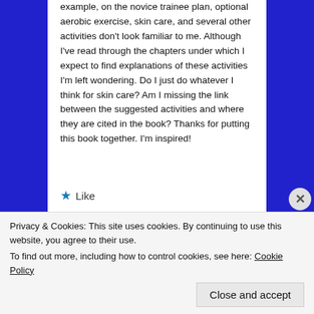example, on the novice trainee plan, optional aerobic exercise, skin care, and several other activities don't look familiar to me. Although I've read through the chapters under which I expect to find explanations of these activities I'm left wondering. Do I just do whatever I think for skin care? Am I missing the link between the suggested activities and where they are cited in the book? Thanks for putting this book together. I'm inspired!
★ Like
Reply
Privacy & Cookies: This site uses cookies. By continuing to use this website, you agree to their use. To find out more, including how to control cookies, see here: Cookie Policy
Close and accept